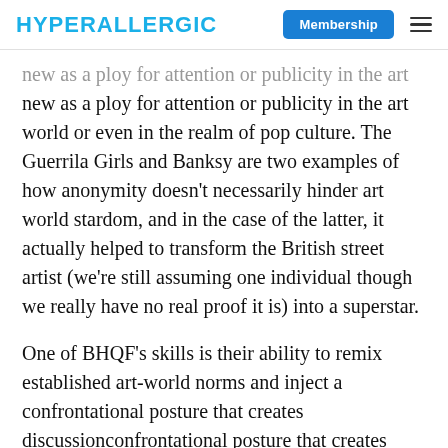HYPERALLERGIC | Membership
new as a ploy for attention or publicity in the art world or even in the realm of pop culture. The Guerrila Girls and Banksy are two examples of how anonymity doesn't necessarily hinder art world stardom, and in the case of the latter, it actually helped to transform the British street artist (we're still assuming one individual though we really have no real proof it is) into a superstar.
One of BHQF's skills is their ability to remix established art-world norms and inject a confrontational posture that creates discussion